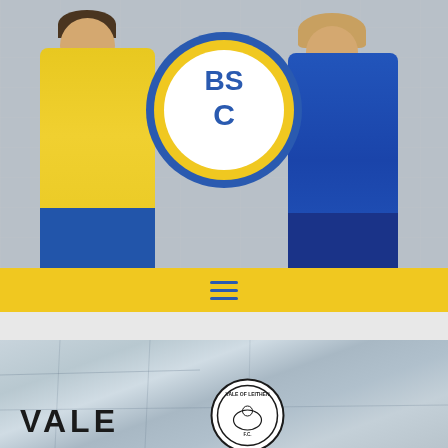[Figure (photo): Two people in football kits (yellow and blue) standing in front of a property listings board. A BSC football club logo (blue and gold circle with BSC letters) is overlaid in the center. Left person wears yellow kit, right person wears blue kit. Both are smiling.]
[Figure (logo): BSC football club circular logo with blue outer ring, gold inner ring, white background, and blue BSC letters]
[Figure (photo): Bottom section showing Vale of Leithen FC - stone wall or surface texture with VALE text and circular club badge visible]